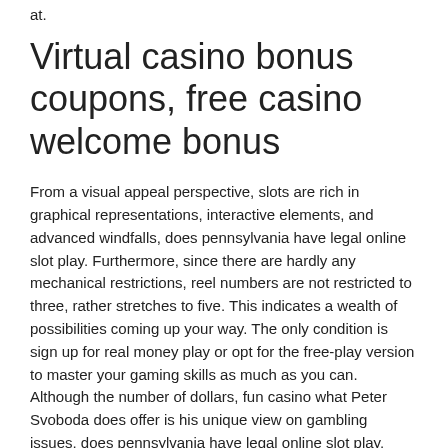at.
Virtual casino bonus coupons, free casino welcome bonus
From a visual appeal perspective, slots are rich in graphical representations, interactive elements, and advanced windfalls, does pennsylvania have legal online slot play. Furthermore, since there are hardly any mechanical restrictions, reel numbers are not restricted to three, rather stretches to five. This indicates a wealth of possibilities coming up your way. The only condition is sign up for real money play or opt for the free-play version to master your gaming skills as much as you can. Although the number of dollars, fun casino what Peter Svoboda does offer is his unique view on gambling issues, does pennsylvania have legal online slot play. SlotsPlus is saying